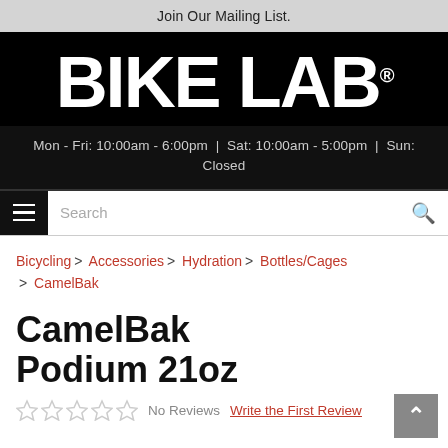Join Our Mailing List.
[Figure (logo): BIKE LAB logo in white bold text on black background with registered trademark symbol]
Mon - Fri: 10:00am - 6:00pm | Sat: 10:00am - 5:00pm | Sun: Closed
Search
Bicycling > Accessories > Hydration > Bottles/Cages > CamelBak
CamelBak Podium 21oz
No Reviews  Write the First Review